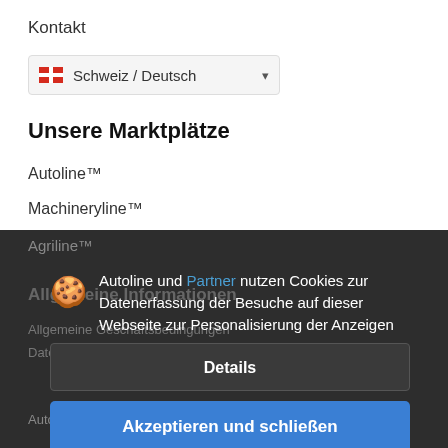Kontakt
Schweiz / Deutsch
Unsere Marktplätze
Autoline™
Machineryline™
Agriline™
Allgemeine Informationen
Allgemeine Geschäftsbedingungen
Datenschutzerklärung
Autoline Bewertungen
Autoline und Partner nutzen Cookies zur Datenerfassung der Besuche auf dieser Webseite zur Personalisierung der Anzeigen
Details
Akzeptieren und schließen